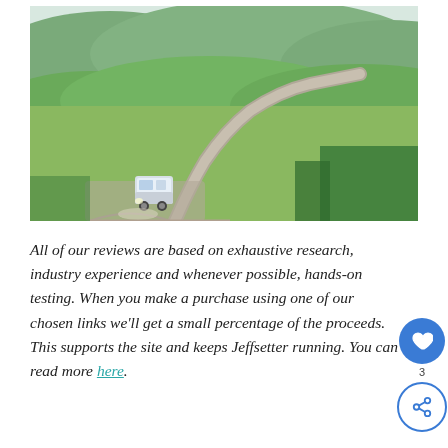[Figure (photo): An RV/camper van driving on a gravel road through a vast open tundra landscape with green hills, mountains in the background, and a winding road stretching into the distance under a bright sky.]
All of our reviews are based on exhaustive research, industry experience and whenever possible, hands-on testing. When you make a purchase using one of our chosen links we'll get a small percentage of the proceeds. This supports the site and keeps Jeffsetter running. You can read more here.